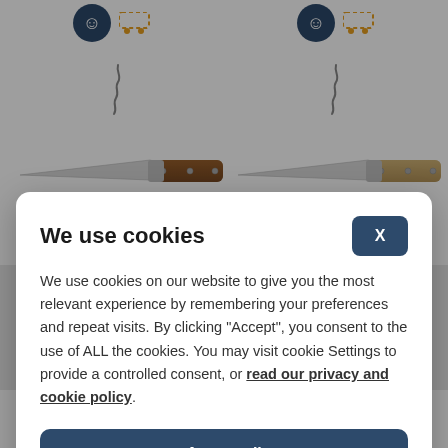[Figure (screenshot): Background of a knife product website showing two folding pocket knives with corkscrews — one with brown wood handle (left) and one with light olive wood handle (right), partially visible behind a cookie consent overlay]
We use cookies
We use cookies on our website to give you the most relevant experience by remembering your preferences and repeat visits. By clicking "Accept", you consent to the use of ALL the cookies. You may visit cookie Settings to provide a controlled consent, or read our privacy and cookie policy.
Accept all
Settings